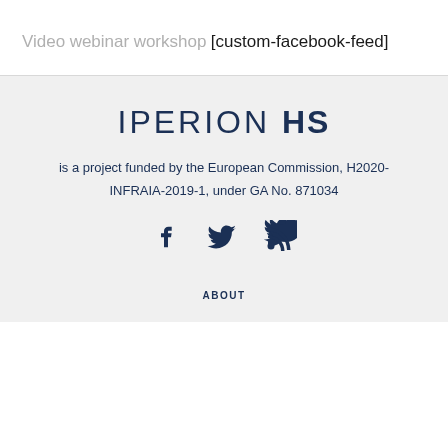Video
webinar
workshop
[custom-facebook-feed]
IPERION HS
is a project funded by the European Commission, H2020-INFRAIA-2019-1, under GA No. 871034
[Figure (illustration): Social media icons: Facebook, Twitter, RSS feed]
ABOUT